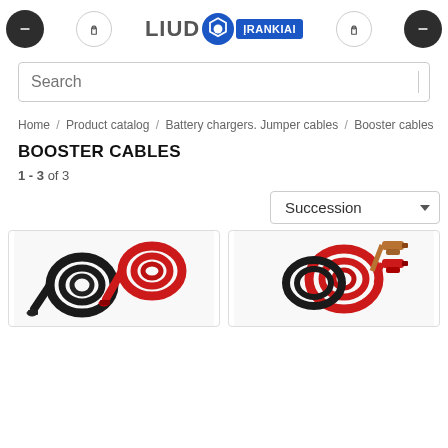LIUDO ĮRANKIAI — navigation header with logo and icon buttons
Search
Home / Product catalog / Battery chargers. Jumper cables / Booster cables
BOOSTER CABLES
1 - 3 of 3
Succession
[Figure (photo): Two coiled booster cables, one black and one red, with clamps visible]
[Figure (photo): Red and black booster cables with copper clamps coiled together]